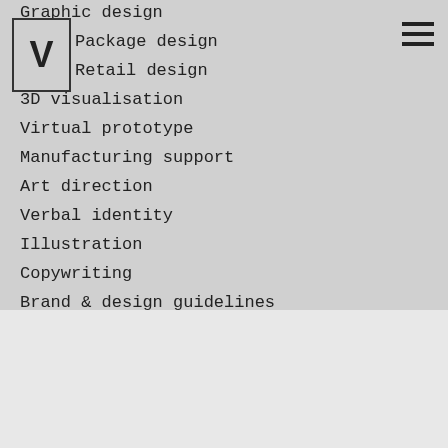[Figure (logo): Logo box with letter V]
Graphic design
Package design
Retail design
3D visualisation
Virtual prototype
Manufacturing support
Art direction
Verbal identity
Illustration
Copywriting
Brand & design guidelines
Food photography
Laura Riihelä
We use cookies and other tracking technologies to improve your browsing experience on our website, and to analyze our website traffic.